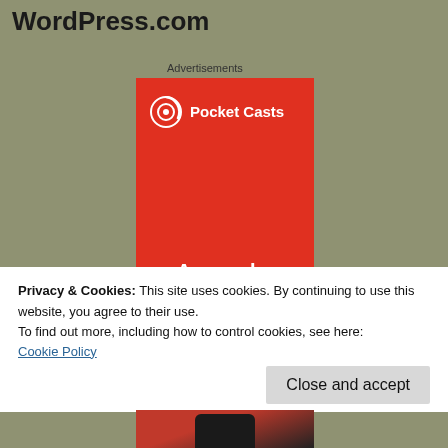WordPress.com
Advertisements
[Figure (advertisement): Pocket Casts app advertisement on red background. Top shows Pocket Casts logo (circular podcast icon) and brand name. Main text reads: An app by listeners, for listeners.]
Privacy & Cookies: This site uses cookies. By continuing to use this website, you agree to their use.
To find out more, including how to control cookies, see here:
Cookie Policy
Close and accept